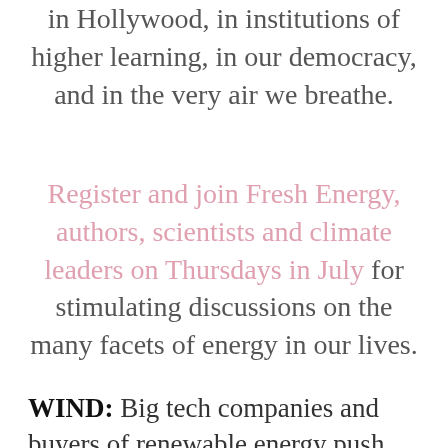in Hollywood, in institutions of higher learning, in our democracy, and in the very air we breathe.
Register and join Fresh Energy, authors, scientists and climate leaders on Thursdays in July for stimulating discussions on the many facets of energy in our lives.
WIND: Big tech companies and buyers of renewable energy push back nearly $4